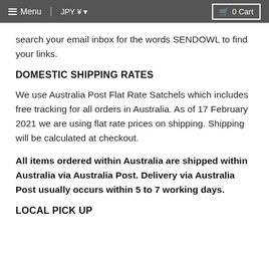Menu  JPY ¥ ▼  0 Cart
search your email inbox for the words SENDOWL to find your links.
DOMESTIC SHIPPING RATES
We use Australia Post Flat Rate Satchels which includes free tracking for all orders in Australia. As of 17 February 2021 we are using flat rate prices on shipping. Shipping will be calculated at checkout.
All items ordered within Australia are shipped within Australia via Australia Post. Delivery via Australia Post usually occurs within 5 to 7 working days.
LOCAL PICK UP